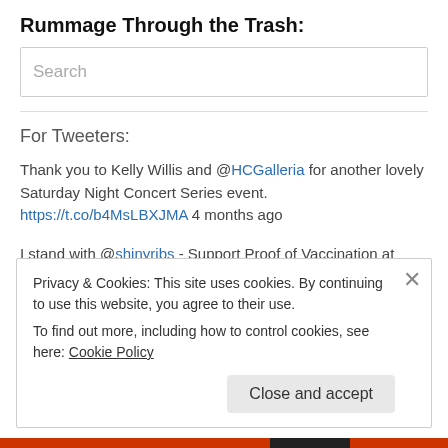Rummage Through the Trash:
Search
For Tweeters:
Thank you to Kelly Willis and @HCGalleria for another lovely Saturday Night Concert Series event. https://t.co/b4MsLBXJMA 4 months ago
I stand with @shinyribs - Support Proof of Vaccination at Venues chng.it/2NDWJLbJ via @Change 1 year ago
Privacy & Cookies: This site uses cookies. By continuing to use this website, you agree to their use.
To find out more, including how to control cookies, see here: Cookie Policy